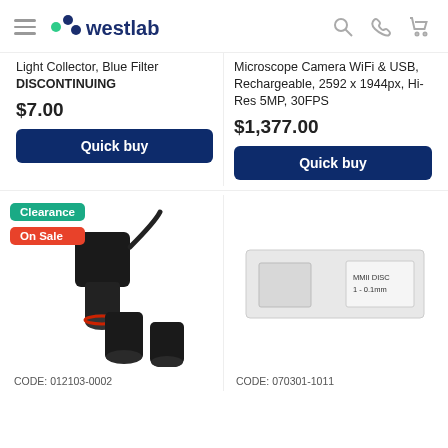westlab navigation header with hamburger menu, logo, search, phone, and cart icons
Light Collector, Blue Filter DISCONTINUING
Microscope Camera WiFi & USB, Rechargeable, 2592 x 1944px, Hi-Res 5MP, 30FPS
$7.00
$1,377.00
Quick buy
Quick buy
[Figure (photo): Black microscope camera with lens adapters, labeled with Clearance and On Sale badges]
[Figure (photo): White microscope calibration slide labeled MMII DISC 1-0.1mm]
CODE: 012103-0002
CODE: 070301-1011